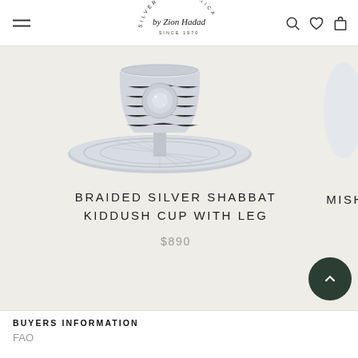Silver and Judaica by Zion Hadad - Since 1970
[Figure (photo): Braided silver Shabbat Kiddush cup with leg product image on light gray background]
BRAIDED SILVER SHABBAT KIDDUSH CUP WITH LEG
$890
MISH
[Figure (other): Scroll to top dark green circular button with upward chevron arrow]
BUYERS INFORMATION
FAQ
nd Returns
Terms of Service
[Figure (other): Language selector box showing UK flag and EN with dropdown chevron]
[Figure (other): WhatsApp chat button - gray circular icon]